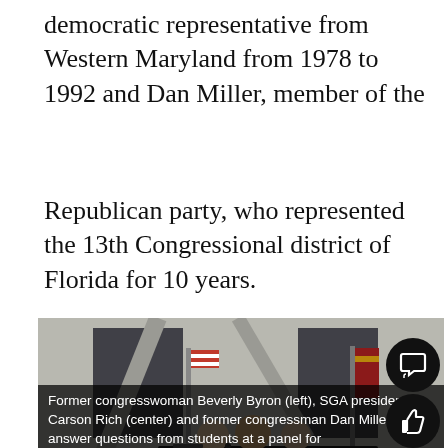democratic representative from Western Maryland from 1978 to 1992 and Dan Miller, member of the
Republican party, who represented the 13th Congressional district of Florida for 10 years.
[Figure (photo): Panel discussion in an auditorium: three people seated at a table at the front including a woman in red on the left, a man in dark clothing in the center, and an older man in a suit on the right. American flags are visible on both sides. Students are seated in rows facing the panel.]
Former congresswoman Beverly Byron (left), SGA president Carson Rich (center) and former congressman Dan Miller answer questions from students at a panel for